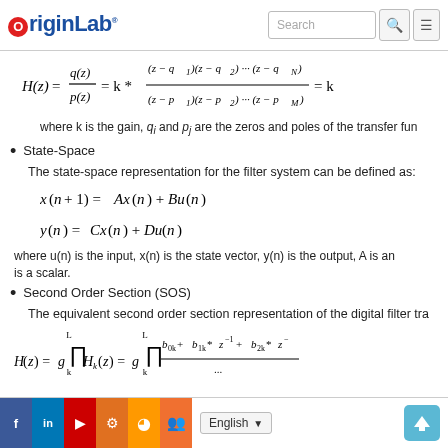[Figure (logo): OriginLab logo with search bar and menu button]
where k is the gain, q_i and p_j are the zeros and poles of the transfer function
State-Space
The state-space representation for the filter system can be defined as:
where u(n) is the input, x(n) is the state vector, y(n) is the output, A is an... is a scalar.
Second Order Section (SOS)
The equivalent second order section representation of the digital filter tra
Social icons, English language selector, back to top button